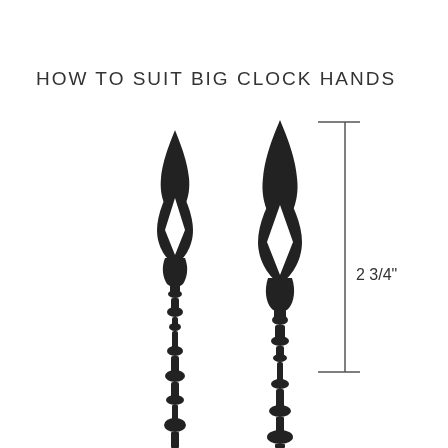HOW TO SUIT BIG CLOCK HANDS
[Figure (illustration): Two decorative clock hands shown side by side in silhouette. The left hand is slightly smaller; the right hand is taller with a dimension line to its right indicating a height of 2 3/4 inches. Both hands have ornate spade-shaped tops with diamond cutouts and decorative turned shafts.]